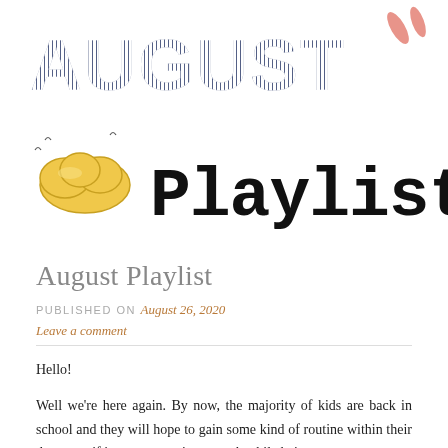[Figure (illustration): Header graphic showing 'AUGUST' in bold dark navy striped letters at top, with pink feather/leaf accents top right, a illustrated yellow cloud with birds bottom left, and 'Playlist' in large black serif typewriter-style font.]
August Playlist
PUBLISHED ON August 26, 2020
Leave a comment
Hello!
Well we're here again. By now, the majority of kids are back in school and they will hope to gain some kind of routine within their day, even if it means wearing a mask while being